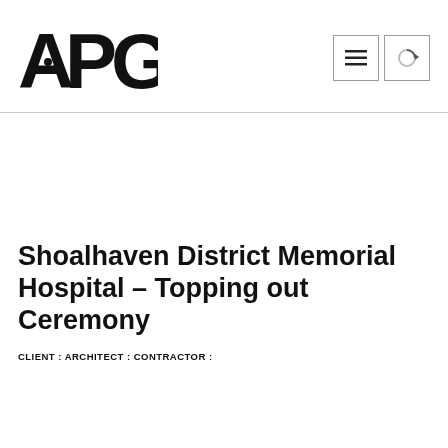[Figure (logo): APG logo in bold black sans-serif lettering with a small circular dot accent]
Shoalhaven District Memorial Hospital – Topping out Ceremony
CLIENT : ARCHITECT : CONTRACTOR :